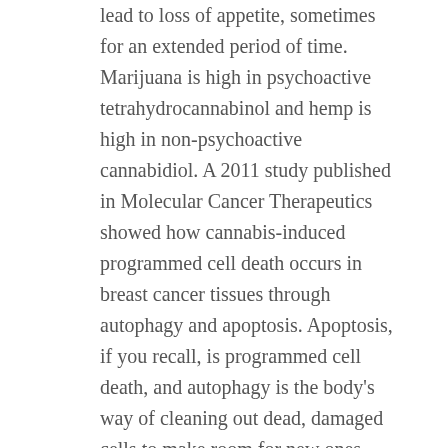lead to loss of appetite, sometimes for an extended period of time. Marijuana is high in psychoactive tetrahydrocannabinol and hemp is high in non-psychoactive cannabidiol. A 2011 study published in Molecular Cancer Therapeutics showed how cannabis-induced programmed cell death occurs in breast cancer tissues through autophagy and apoptosis. Apoptosis, if you recall, is programmed cell death, and autophagy is the body's way of cleaning out dead, damaged cells to make room for new ones.
CBD oil has also proven to be an effective, non-habit-forming treatment for pain. One study found that CBD reduces pain 30% more than traditional medication or medical marijuana alone. CBD oil comes as full-spectrum oils or in forms that contain CBD isolates. Unlike isolates, which contain CBD cbd jelly bears only, full-spectrum oils contain a variety of compounds found naturally in the cannabis plant, including proteins, flavonoids, terpenes, and chlorophyll. Alternative